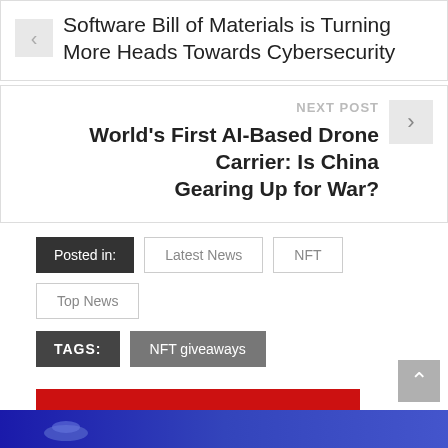Software Bill of Materials is Turning More Heads Towards Cybersecurity
NEXT POST
World's First AI-Based Drone Carrier: Is China Gearing Up for War?
Posted in: Latest News  NFT  Top News
TAGS: NFT giveaways
MORE ARTICLES
> BY THE SAME AUTHOR